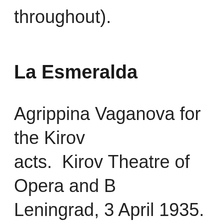throughout).
La Esmeralda
Agrippina Vaganova for the Kirov acts. Kirov Theatre of Opera and B... Leningrad, 3 April 1935. Revived e... the Ballerina Tatiana Vecheslova. added a "new" Pas d'action for the Galina Ulanova and the Danseur V... Chabukin in which he...